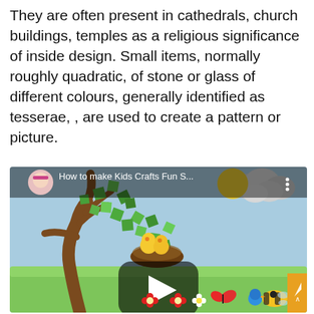They are often present in cathedrals, church buildings, temples as a religious significance of inside design. Small items, normally roughly quadratic, of stone or glass of different colours, generally identified as tesserae, , are used to create a pattern or picture.
[Figure (screenshot): Embedded YouTube video thumbnail showing a kids craft video titled 'How to make Kids Crafts Fun S...' with a cartoon doll avatar. The video thumbnail depicts a colorful craft scene with a paper tree with green paper leaves, two yellow chicks in a nest, a bee, butterfly, and blue bird on a green grass background. A play button is visible in the center.]